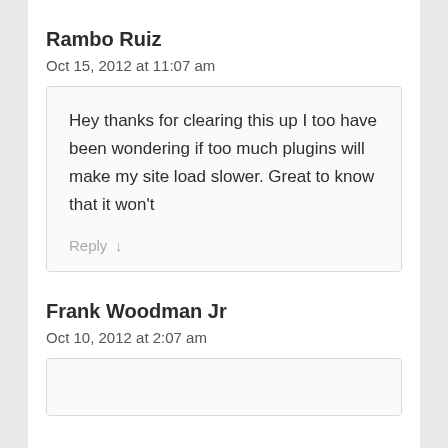Rambo Ruiz
Oct 15, 2012 at 11:07 am
Hey thanks for clearing this up I too have been wondering if too much plugins will make my site load slower. Great to know that it won't
Reply ↓
Frank Woodman Jr
Oct 10, 2012 at 2:07 am